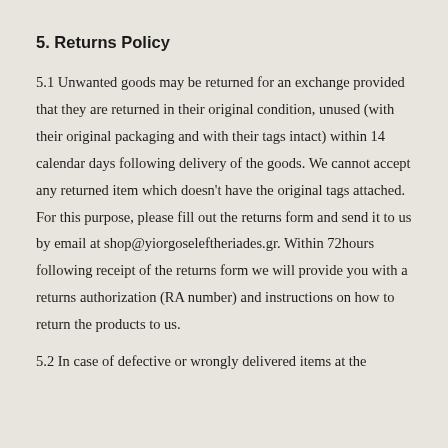5. Returns Policy
5.1 Unwanted goods may be returned for an exchange provided that they are returned in their original condition, unused (with their original packaging and with their tags intact) within 14 calendar days following delivery of the goods. We cannot accept any returned item which doesn't have the original tags attached. For this purpose, please fill out the returns form and send it to us by email at shop@yiorgoseleftheriades.gr. Within 72hours following receipt of the returns form we will provide you with a returns authorization (RA number) and instructions on how to return the products to us.
5.2 In case of defective or wrongly delivered items at the